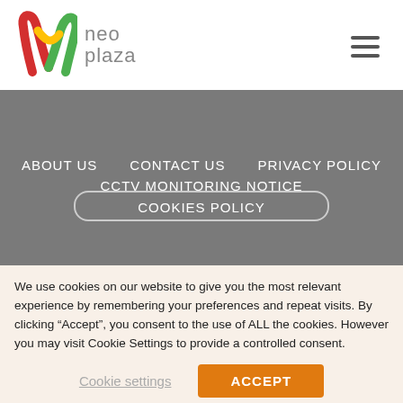[Figure (logo): Neo Plaza logo with colorful N icon and grey 'neo plaza' text]
ABOUT US    CONTACT US    PRIVACY POLICY
CCTV MONITORING NOTICE
COOKIES POLICY
We use cookies on our website to give you the most relevant experience by remembering your preferences and repeat visits. By clicking “Accept”, you consent to the use of ALL the cookies. However you may visit Cookie Settings to provide a controlled consent.
Cookie settings
ACCEPT